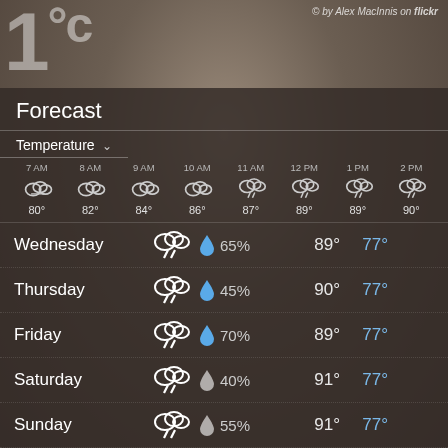© by Alex MacInnis on flickr
Forecast
Temperature ˅
| 7 AM | 8 AM | 9 AM | 10 AM | 11 AM | 12 PM | 1 PM | 2 PM |
| --- | --- | --- | --- | --- | --- | --- | --- |
| 80° | 82° | 84° | 86° | 87° | 89° | 89° | 90° |
| Day | Condition | Precip | High | Low |
| --- | --- | --- | --- | --- |
| Wednesday | thunderstorm | 65% | 89° | 77° |
| Thursday | thunderstorm | 45% | 90° | 77° |
| Friday | thunderstorm | 70% | 89° | 77° |
| Saturday | thunderstorm | 40% | 91° | 77° |
| Sunday | thunderstorm | 55% | 91° | 77° |
| Monday | thunderstorm | 70% | 91° | 78° |
| Tuesday | thunderstorm | 40% | 89° | 75° |